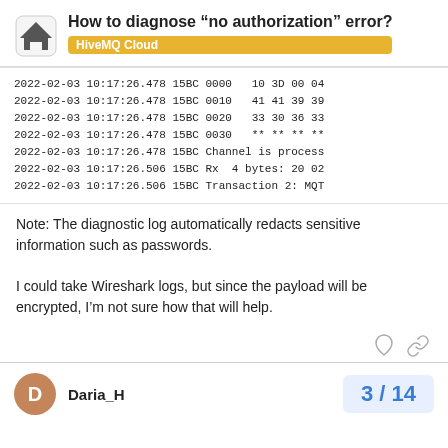How to diagnose “no authorization” error? — HiveMQ Cloud
[Figure (screenshot): Code/log block showing MQTT diagnostic log lines with timestamps 2022-02-03, hex data, channel processing, and transaction info]
Note: The diagnostic log automatically redacts sensitive information such as passwords.
I could take Wireshark logs, but since the payload will be encrypted, I’m not sure how that will help.
Daria_H — 3 / 14